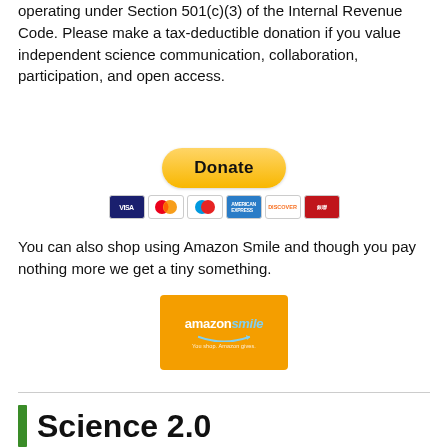operating under Section 501(c)(3) of the Internal Revenue Code. Please make a tax-deductible donation if you value independent science communication, collaboration, participation, and open access.
[Figure (screenshot): PayPal Donate button (gold/yellow pill-shaped) with credit card icons below (Visa, Mastercard, Maestro, American Express, Discover, UnionPay)]
You can also shop using Amazon Smile and though you pay nothing more we get a tiny something.
[Figure (logo): Amazon Smile logo on orange/gold background]
Science 2.0